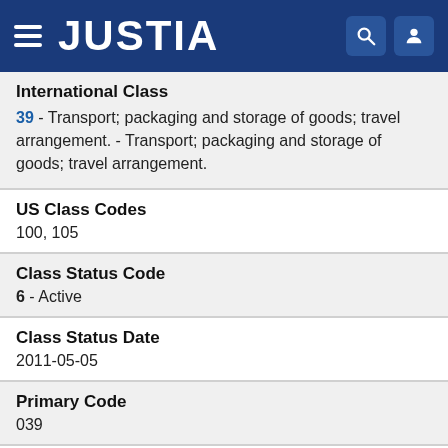JUSTIA
International Class
39 - Transport; packaging and storage of goods; travel arrangement. - Transport; packaging and storage of goods; travel arrangement.
US Class Codes
100, 105
Class Status Code
6 - Active
Class Status Date
2011-05-05
Primary Code
039
International Cl...